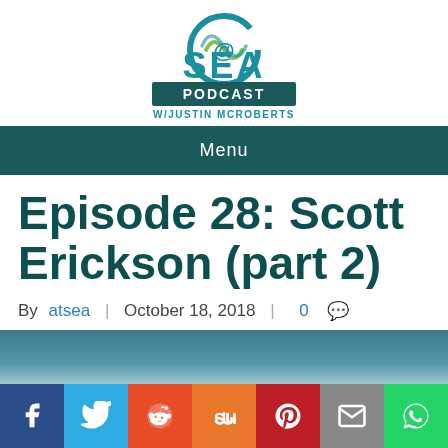[Figure (logo): @SEA Podcast w/ Justin McRoberts logo]
Menu
Episode 28: Scott Erickson (part 2)
By atsea | October 18, 2018 | 0
[Figure (screenshot): Social sharing bar with Facebook, Twitter, Reddit, StumbleUpon, Pinterest, Email, and WhatsApp buttons]